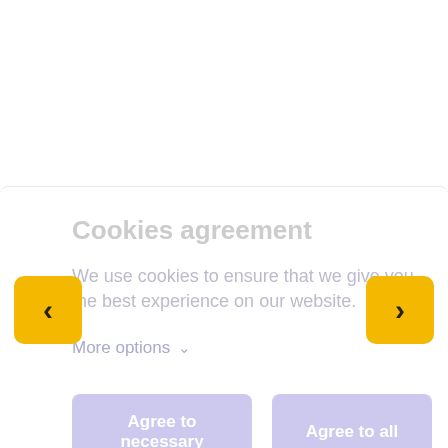Cookies agreement
We use cookies to ensure that we give you the best experience on our website.
More options
Agree to necessary
Agree to all